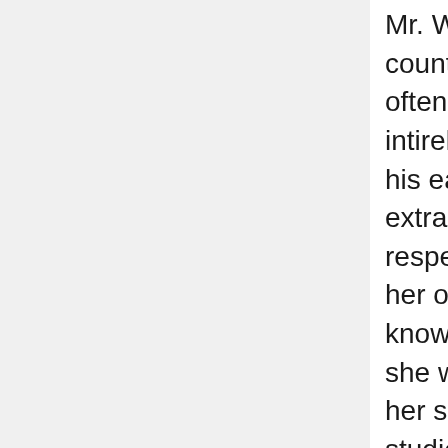Mr. Wythe was a native of the county of Elizabeth City. I have often heard him say that we was intirely indebted to his mother for his early education. She was an extraordinary wom[an] in some respects, and having added to her other acquirements a knowledge of the Latin language, she was the sole instructress of her son in this also. He was very studious and industrious, and as he grew up, so much improved on this good foundation his mother had laid, that he made himself in time one of the